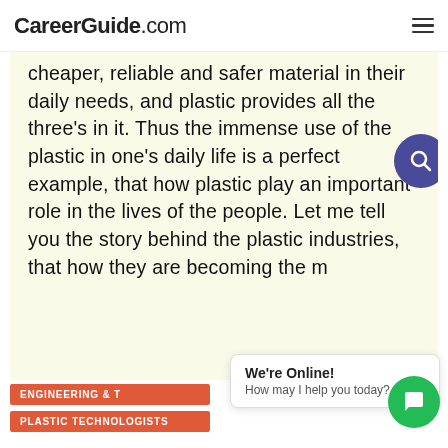CareerGuide.com
cheaper, reliable and safer material in their daily needs, and plastic provides all the three's in it. Thus the immense use of the plastic in one's daily life is a perfect example, that how plastic play an important role in the lives of the people. Let me tell you the story behind the plastic industries, that how they are becoming the m
ENGINEERING & T...
PLASTIC TECHNOLOGISTS